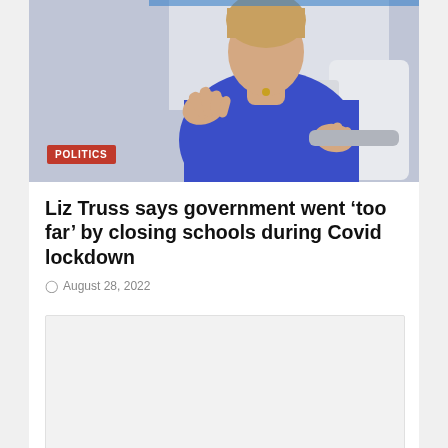[Figure (photo): Woman in blue blazer gesturing with hands, seated in white chair, in a studio or office setting. Red 'POLITICS' badge overlaid in lower left.]
Liz Truss says government went 'too far' by closing schools during Covid lockdown
August 28, 2022
[Figure (other): Advertisement or content placeholder — light grey rectangle]